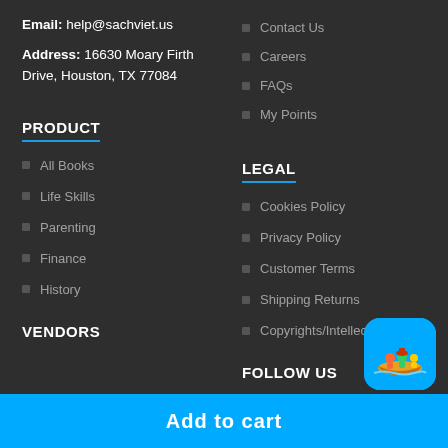Email: help@sachviet.us
Address: 16630 Moary Firth Drive, Houston, TX 77084
Contact Us
Careers
FAQs
My Points
PRODUCT
LEGAL
All Books
Cookies Policy
Life Skills
Privacy Policy
Parenting
Customer Terms
Finance
Shipping Returns
History
Copyrights/Intellectual
VENDORS
FOLLOW US
[Figure (illustration): App icon with cyan rounded square background showing small figures on a boat]
Add to cart